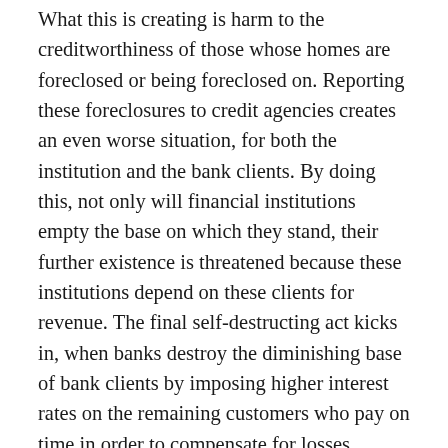What this is creating is harm to the creditworthiness of those whose homes are foreclosed or being foreclosed on. Reporting these foreclosures to credit agencies creates an even worse situation, for both the institution and the bank clients. By doing this, not only will financial institutions empty the base on which they stand, their further existence is threatened because these institutions depend on these clients for revenue. The final self-destructing act kicks in, when banks destroy the diminishing base of bank clients by imposing higher interest rates on the remaining customers who pay on time in order to compensate for losses suffered from non-paying clients. Most Americans live on some kind of fixed income. Changes to this equation would cause individual Americans increasing trouble by continuing to make payments on time. Taking all these inept, destructive steps and measures into consideration, the institutions destroy their clients' creditworthiness and their own base of existence as a financial institution. In the end, what banks end up doing is shooting themselves in both feet, leading to their own demise. One does not want to make before...